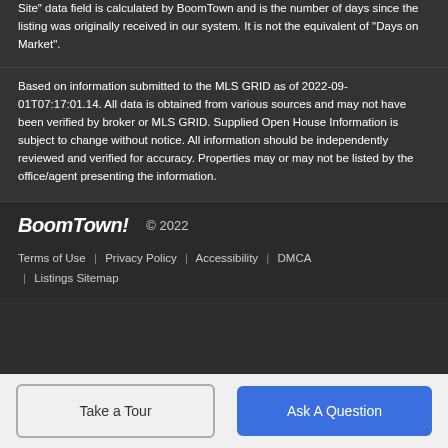Site" data field is calculated by BoomTown and is the number of days since the listing was originally received in our system. It is not the equivalent of "Days on Market".
Based on information submitted to the MLS GRID as of 2022-09-01T07:17:01.14. All data is obtained from various sources and may not have been verified by broker or MLS GRID. Supplied Open House Information is subject to change without notice. All information should be independently reviewed and verified for accuracy. Properties may or may not be listed by the office/agent presenting the information.
BoomTown! © 2022
Terms of Use | Privacy Policy | Accessibility | DMCA | Listings Sitemap
Take a Tour
Ask A Question